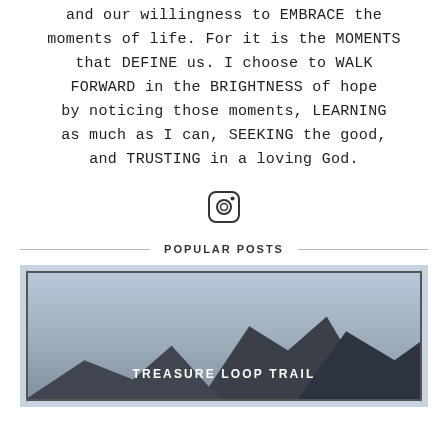and our willingness to EMBRACE the moments of life. For it is the MOMENTS that DEFINE us. I choose to WALK FORWARD in the BRIGHTNESS of hope by noticing those moments, LEARNING as much as I can, SEEKING the good, and TRUSTING in a loving God.
[Figure (illustration): Instagram icon (camera outline symbol)]
POPULAR POSTS
[Figure (photo): Mountain trail landscape photo with overlay text reading TREASURE LOOP TRAIL. Blue-grey tones with dark rocky mountain silhouette.]